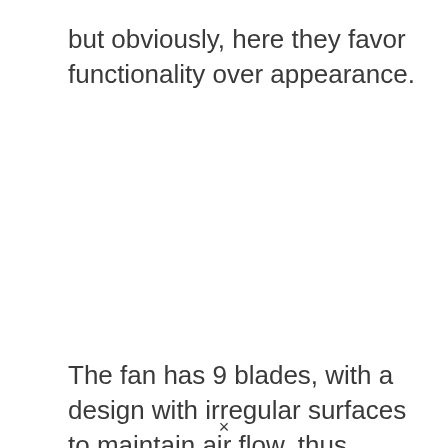but obviously, here they favor functionality over appearance.
The fan has 9 blades, with a design with irregular surfaces to maintain air flow. thus